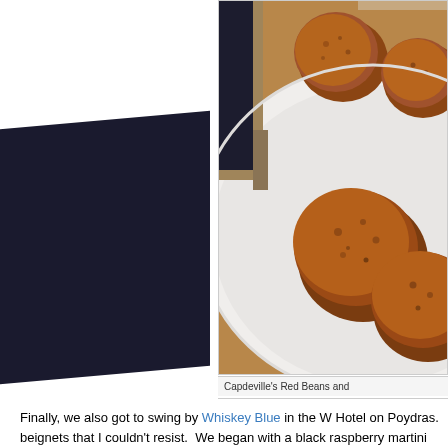[Figure (photo): A white plate with several round golden-brown fried balls (red beans and rice beignets) on a plate, with a dark cloth napkin visible on the left side.]
Capdeville's Red Beans and
Finally, we also got to swing by Whiskey Blue in the W Hotel on Poydras. beignets that I couldn't resist.  We began with a black raspberry martini feat